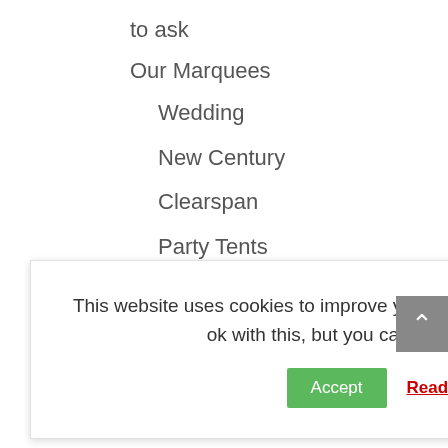to ask
Our Marquees
Wedding
New Century
Clearspan
Party Tents
Sports-Events-Shows
Marquee Hire For Retail Shops, Bars and
This website uses cookies to improve your experience. We'll assume you're ok with this, but you can opt-out if you wish. Accept Read More
Walkways
FAQ